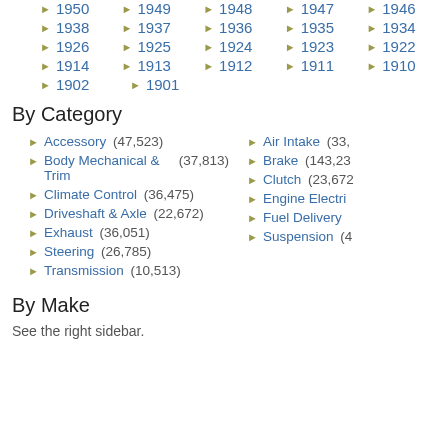1950 1949 1948 1947 1946
1938 1937 1936 1935 1934
1926 1925 1924 1923 1922
1914 1913 1912 1911 1910
1902 1901
By Category
Accessory (47,523)
Air Intake (33,...
Body Mechanical & Trim (37,813)
Brake (143,23...
Climate Control (36,475)
Clutch (23,672...
Driveshaft & Axle (22,672)
Engine Electri...
Exhaust (36,051)
Fuel Delivery
Steering (26,785)
Suspension (4...
Transmission (10,513)
By Make
See the right sidebar.